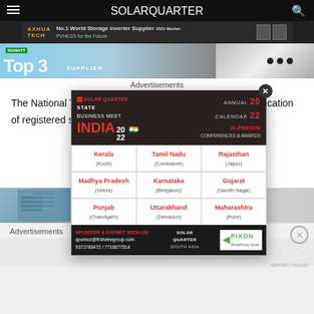SOLARQUARTER
[Figure (screenshot): Banner advertisement for AXHUA TECH: No.1 World Storage Inverter Supplier, PVHESS for the Future]
[Figure (photo): Hero banner image showing solar panels, RDWATT branding, Top 5 Supplier text]
Advertisements
The National T... (C) requested proposals for ... or the third verification of ... registered solar and wind ... pacity of 610 MW, from Oct... 1.
[Figure (screenshot): Solar Quarter State Business Meet India 2022 popup advertisement with Annual Calendar 2022, In-Person Conferences & Awards, showing states: Kerala (Kochi), Tamil Nadu (Coimbatore), Rajasthan (Jaipur), Madhya Pradesh (Indore), Karnataka (Bengaluru), Gujarat (Gandhi Nagar), Punjab (Chandigarh), Uttarakhand (Dehradun), Maharashtra (Pune). Sponsor & Exhibit contact: sponsor@firstviewgroup.com 9372788472/7718877514. Solar Quarter South Asia and PIXON Redefining Solar logos.]
[Figure (photo): Bottom section showing solar panel image on left and product image on right with dots]
Advertisements